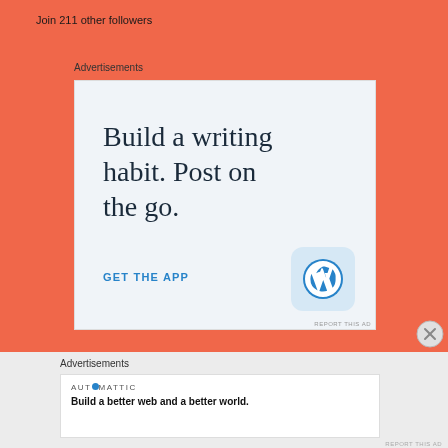Join 211 other followers
Advertisements
[Figure (screenshot): WordPress app advertisement: 'Build a writing habit. Post on the go.' with GET THE APP link and WordPress logo icon]
Advertisements
[Figure (screenshot): Automattic advertisement: 'Build a better web and a better world.']